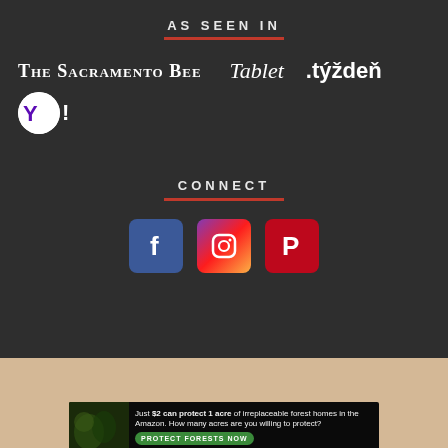AS SEEN IN
[Figure (logo): Logos of The Sacramento Bee, Tablet, .týždeň, and Yahoo]
CONNECT
[Figure (illustration): Facebook, Instagram, and Pinterest social media icons]
[Figure (infographic): Ad banner: Just $2 can protect 1 acre of irreplaceable forest homes in the Amazon. How many acres are you willing to protect? PROTECT FORESTS NOW]